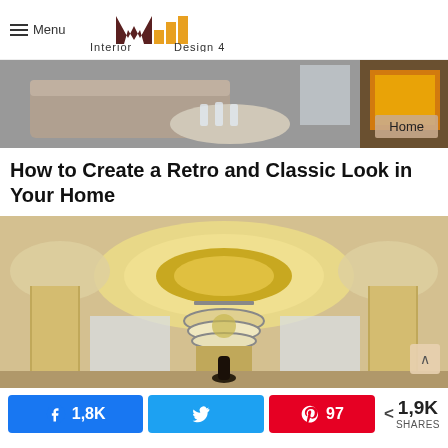Menu | Interior Design 4 — better living, better Designing
[Figure (photo): Hero image of a luxury interior with sofa and fireplace, with a 'Home' badge overlay]
How to Create a Retro and Classic Look in Your Home
[Figure (photo): Luxury interior room with ornate golden ceiling, large chandelier, and textured pillars]
1,8K shares on Facebook | Twitter share | 97 Pinterest shares | < 1,9K SHARES